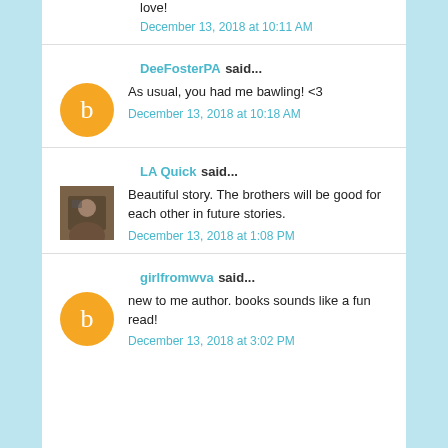love!
December 13, 2018 at 10:11 AM
DeeFosterPA said...
As usual, you had me bawling! <3
December 13, 2018 at 10:18 AM
LA Quick said...
Beautiful story. The brothers will be good for each other in future stories.
December 13, 2018 at 1:08 PM
girlfromwva said...
new to me author. books sounds like a fun read!
December 13, 2018 at 3:02 PM